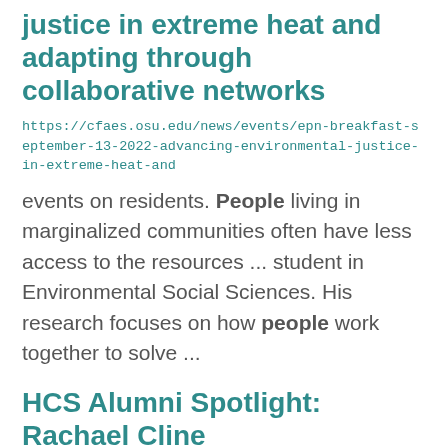justice in extreme heat and adapting through collaborative networks
https://cfaes.osu.edu/news/events/epn-breakfast-september-13-2022-advancing-environmental-justice-in-extreme-heat-and
events on residents. People living in marginalized communities often have less access to the resources ... student in Environmental Social Sciences. His research focuses on how people work together to solve ...
HCS Alumni Spotlight: Rachael Cline